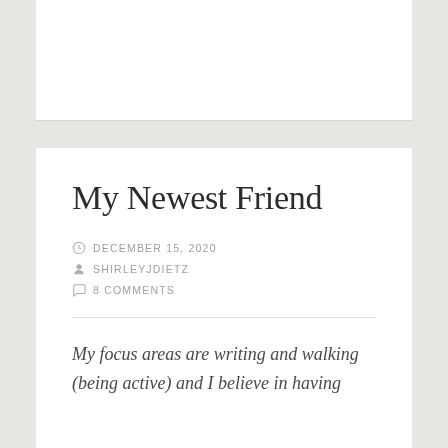My Newest Friend
DECEMBER 15, 2020
SHIRLEYJDIETZ
8 COMMENTS
My focus areas are writing and walking (being active) and I believe in having